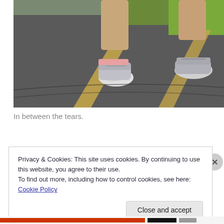[Figure (photo): Close-up photo of two people's legs and feet wearing athletic shoes walking or running on a paved track with yellow lane lines. Green grass visible in the upper right corner.]
In between the tears.
Privacy & Cookies: This site uses cookies. By continuing to use this website, you agree to their use.
To find out more, including how to control cookies, see here: Cookie Policy
Close and accept